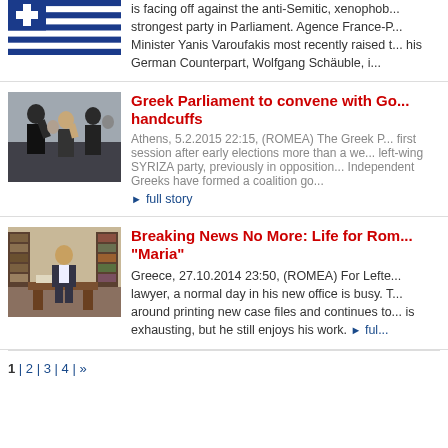[Figure (photo): Greek flag - blue and white stripes with blue rectangle]
is facing off against the anti-Semitic, xenophob... strongest party in Parliament. Agence France-P... Minister Yanis Varoufakis most recently raised t... his German Counterpart, Wolfgang Schäuble, i...
[Figure (photo): Group of people making fist gestures in a parliament setting]
Greek Parliament to convene with Go... handcuffs
Athens, 5.2.2015 22:15, (ROMEA) The Greek P... first session after early elections more than a we... left-wing SYRIZA party, previously in opposition... Independent Greeks have formed a coalition go...
full story
[Figure (photo): Man in suit standing in an office with bookshelves]
Breaking News No More: Life for Rom... "Maria"
Greece, 27.10.2014 23:50, (ROMEA) For Lefte... lawyer, a normal day in his new office is busy. T... around printing new case files and continues to... is exhausting, but he still enjoys his work.
full story
1 | 2 | 3 | 4 | »